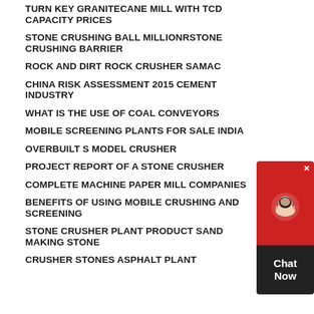TURN KEY GRANITECANE MILL WITH TCD CAPACITY PRICES
STONE CRUSHING BALL MILLIONRSTONE CRUSHING BARRIER
ROCK AND DIRT ROCK CRUSHER SAMAC
CHINA RISK ASSESSMENT 2015 CEMENT INDUSTRY
WHAT IS THE USE OF COAL CONVEYORS
MOBILE SCREENING PLANTS FOR SALE INDIA
OVERBUILT S MODEL CRUSHER
PROJECT REPORT OF A STONE CRUSHER
COMPLETE MACHINE PAPER MILL COMPANIES
BENEFITS OF USING MOBILE CRUSHING AND SCREENING
STONE CRUSHER PLANT PRODUCT SAND MAKING STONE CRUSHER STONES ASPHALT PLANT
[Figure (other): Live chat widget with red top section containing headset icon and dark bottom section with Chat Now text]